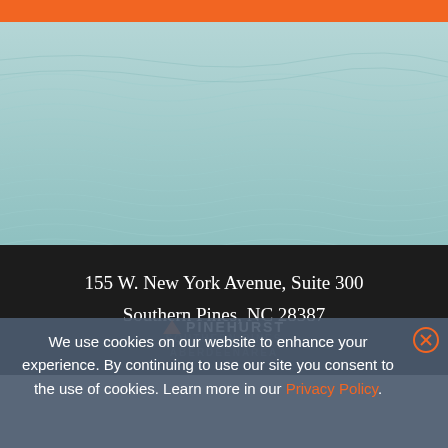[Figure (photo): Ocean/water surface photograph with rippling waves, teal-blue color. An orange bar is overlaid at the top.]
155 W. New York Avenue, Suite 300
Southern Pines, NC 28387
[Figure (logo): Pinehurst Southern Pines Aberdeen Area logo with triangle/arrow icon in orange and bold white text]
We use cookies on our website to enhance your experience. By continuing to use our site you consent to the use of cookies. Learn more in our Privacy Policy.